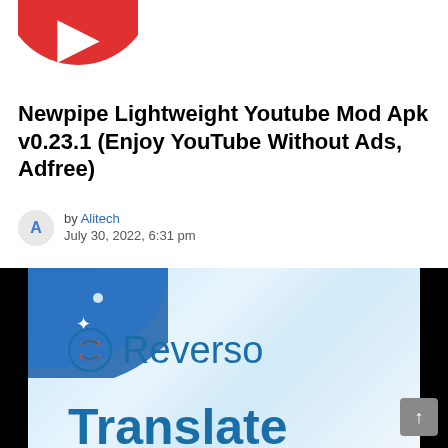[Figure (logo): Partial red circular logo at top left, cropped at top]
Newpipe Lightweight Youtube Mod Apk v0.23.1 (Enjoy YouTube Without Ads, Adfree)
by Alitech
July 30, 2022, 6:31 pm
[Figure (screenshot): App screenshot showing Reverso Translate app interface with blue gradient background, Reverso logo icon and name, and bold blue Translate text on a dark-bordered device mockup]